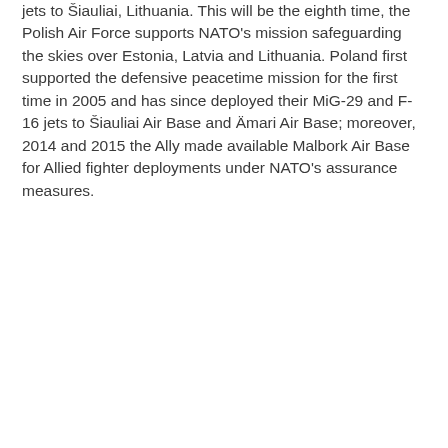jets to Šiauliai, Lithuania. This will be the eighth time, the Polish Air Force supports NATO's mission safeguarding the skies over Estonia, Latvia and Lithuania. Poland first supported the defensive peacetime mission for the first time in 2005 and has since deployed their MiG-29 and F-16 jets to Šiauliai Air Base and Ämari Air Base; moreover, 2014 and 2015 the Ally made available Malbork Air Base for Allied fighter deployments under NATO's assurance measures.